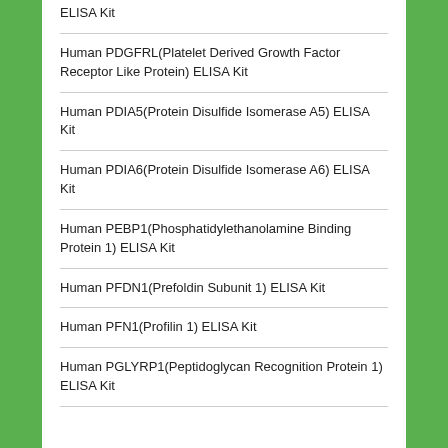ELISA Kit
Human PDGFRL(Platelet Derived Growth Factor Receptor Like Protein) ELISA Kit
Human PDIA5(Protein Disulfide Isomerase A5) ELISA Kit
Human PDIA6(Protein Disulfide Isomerase A6) ELISA Kit
Human PEBP1(Phosphatidylethanolamine Binding Protein 1) ELISA Kit
Human PFDN1(Prefoldin Subunit 1) ELISA Kit
Human PFN1(Profilin 1) ELISA Kit
Human PGLYRP1(Peptidoglycan Recognition Protein 1) ELISA Kit